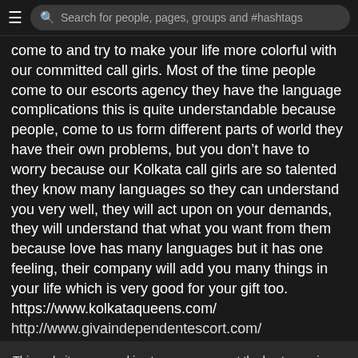Search for people, pages, groups and #hashtags
come to and try to make your life more colorful with our committed call girls. Most of the time people come to our escorts agency they have the language complications this is quite understandable because people, come to us form different parts of world they have their own problems, but you don't have to worry because our Kolkata call girls are so talented they know many languages so they can understand you very well, they will act upon on your demands, they will understand that what you want from them because love has many languages but it has one feeling, their company will add you many things in your life which is very good for your gift too.
https://www.kolkataqueens.com/
http://www.givaindependentescort.com/
This website uses cookies to ensure you get the best experience on our website. Learn More
Got It!